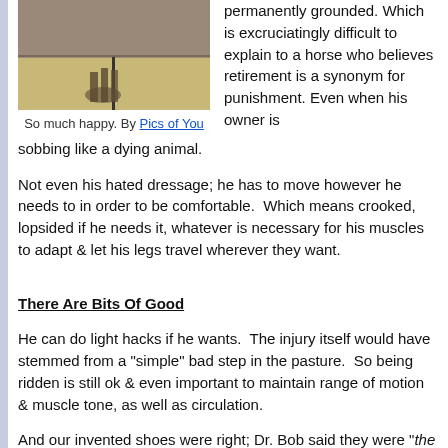[Figure (photo): Photo of a horse near a stone wall with sandy ground]
So much happy. By Pics of You
permanently grounded. Which is excruciatingly difficult to explain to a horse who believes retirement is a synonym for punishment. Even when his owner is sobbing like a dying animal.
Not even his hated dressage; he has to move however he needs to in order to be comfortable.  Which means crooked, lopsided if he needs it, whatever is necessary for his muscles to adapt & let his legs travel wherever they want.
There Are Bits Of Good
He can do light hacks if he wants.  The injury itself would have stemmed from a "simple" bad step in the pasture.  So being ridden is still ok & even important to maintain range of motion & muscle tone, as well as circulation.
And our invented shoes were right; Dr. Bob said they were "the most a farrier can do for him at this point."  And my instinct to rest him was correct.  I couldn't have prevented anything, although it's impossible not to wonder if I could have "done something" (what, magic horse re-grower??) sooner.